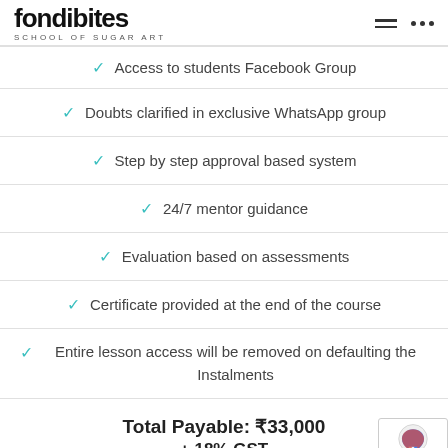fondibites SCHOOL OF SUGAR ART
Access to students Facebook Group
Doubts clarified in exclusive WhatsApp group
Step by step approval based system
24/7 mentor guidance
Evaluation based on assessments
Certificate provided at the end of the course
Entire lesson access will be removed on defaulting the Instalments
Total Payable: ₹33,000 + 18% GST